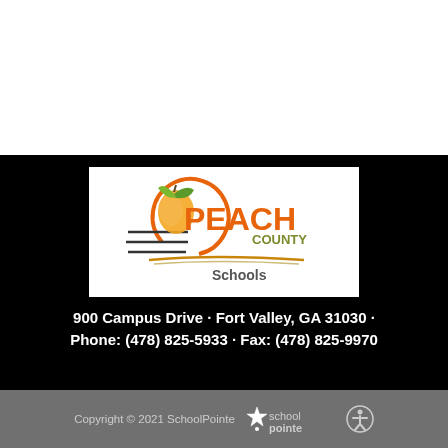[Figure (logo): Peach County Schools logo with peach fruit graphic, orange PEACH text, olive COUNTY text, and Schools below a swoosh line]
900 Campus Drive · Fort Valley, GA 31030 · Phone: (478) 825-5933 · Fax: (478) 825-9970
Copyright © 2021 SchoolPointe